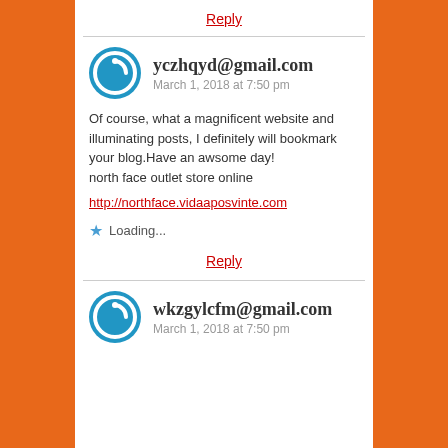Reply
yczhqyd@gmail.com
March 1, 2018 at 7:50 pm
Of course, what a magnificent website and illuminating posts, I definitely will bookmark your blog.Have an awsome day!
north face outlet store online
http://northface.vidaaposvinte.com
Loading...
Reply
wkzgylcfm@gmail.com
March 1, 2018 at 7:50 pm